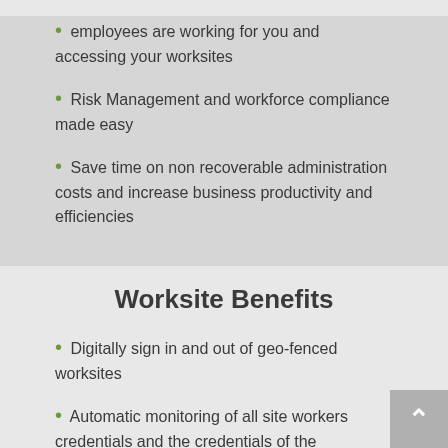employees are working for you and accessing your worksites
Risk Management and workforce compliance made easy
Save time on non recoverable administration costs and increase business productivity and efficiencies
Worksite Benefits
Digitally sign in and out of geo-fenced worksites
Automatic monitoring of all site workers credentials and the credentials of the businesses they represent
Receive automated notifications of site workers entering worksites with expired credentials